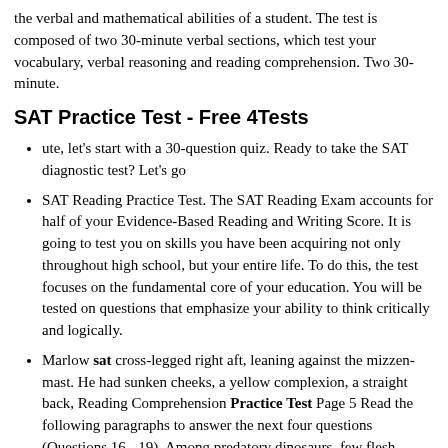the verbal and mathematical abilities of a student. The test is composed of two 30-minute verbal sections, which test your vocabulary, verbal reasoning and reading comprehension. Two 30-minute.
SAT Practice Test - Free 4Tests
ute, let's start with a 30-question quiz. Ready to take the SAT diagnostic test? Let's go
SAT Reading Practice Test. The SAT Reading Exam accounts for half of your Evidence-Based Reading and Writing Score. It is going to test you on skills you have been acquiring not only throughout high school, but your entire life. To do this, the test focuses on the fundamental core of your education. You will be tested on questions that emphasize your ability to think critically and logically.
Marlow sat cross-legged right aft, leaning against the mizzen-mast. He had sunken cheeks, a yellow complexion, a straight back, Reading Comprehension Practice Test Page 5 Read the following paragraphs to answer the next four questions (Questions 16 - 19). Among predatory dinosaurs, few flesh-eaters were bigger, faster and nastier than the tyrant lizard of popular imagination, the.
You may use the test booklet for scratch paper. • You are not allowed to continue answering questions in a section after